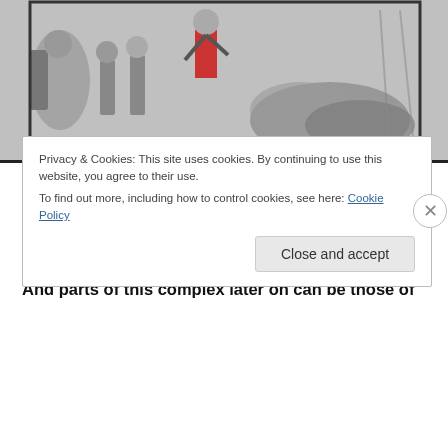[Figure (illustration): Black and white sketch/illustration showing figures in a violent scene, one figure in red trousers kicking or striking others who are fallen on the ground.]
was actually coming at them…witches and Jews were seen as a source of burning…if nothing else in that they could be responsible for one burning forever in hell.
And parts of this complex later on can be those of
Privacy & Cookies: This site uses cookies. By continuing to use this website, you agree to their use.
To find out more, including how to control cookies, see here: Cookie Policy
Close and accept